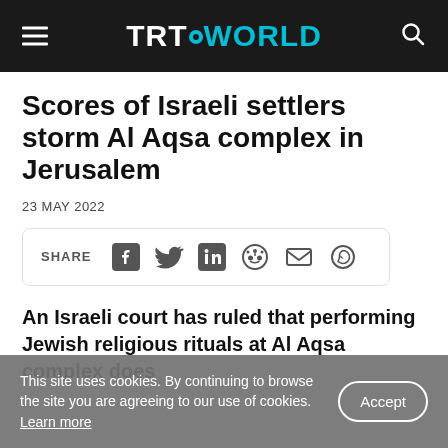TRT WORLD
Scores of Israeli settlers storm Al Aqsa complex in Jerusalem
23 MAY 2022
[Figure (infographic): Social share bar with icons for Facebook, Twitter, LinkedIn, Reddit, Email, and WhatsApp]
An Israeli court has ruled that performing Jewish religious rituals at Al Aqsa complex does not violate public order laws, as a...
This site uses cookies. By continuing to browse the site you are agreeing to our use of cookies. Learn more